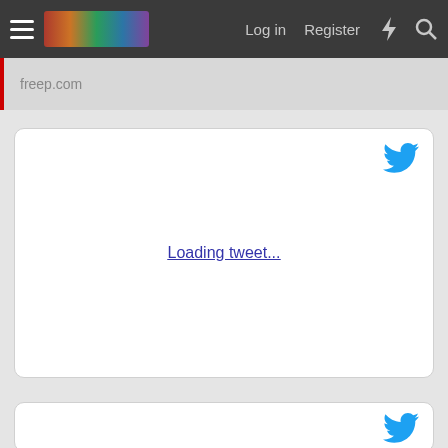Log in  Register
freep.com
[Figure (screenshot): Tweet embed card with Twitter bird logo and 'Loading tweet...' link text centered in white rounded-corner card]
[Figure (screenshot): Second tweet embed card with Twitter bird logo, partially visible at bottom of page]